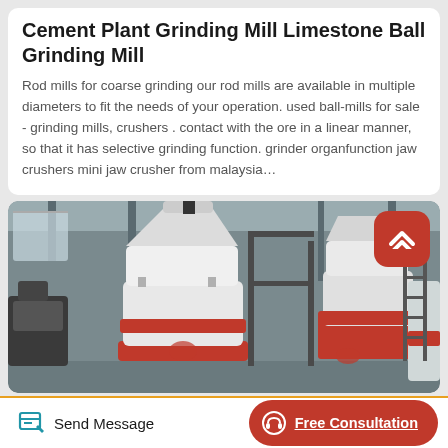Cement Plant Grinding Mill Limestone Ball Grinding Mill
Rod mills for coarse grinding our rod mills are available in multiple diameters to fit the needs of your operation. used ball-mills for sale - grinding mills, crushers . contact with the ore in a linear manner, so that it has selective grinding function. grinder organfunction jaw crushers mini jaw crusher from malaysia…
[Figure (photo): Industrial grinding mill machines in a factory setting — large white cylindrical units with red accent bands and black metal framework, photographed indoors.]